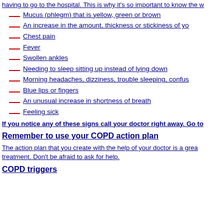having to go to the hospital. This is why it's so important to know the w
Mucus (phlegm) that is yellow, green or brown
An increase in the amount, thickness or stickiness of yo
Chest pain
Fever
Swollen ankles
Needing to sleep sitting up instead of lying down
Morning headaches, dizziness, trouble sleeping, confus
Blue lips or fingers
An unusual increase in shortness of breath
Feeling sick
If you notice any of these signs call your doctor right away. Go to
Remember to use your COPD action plan
The action plan that you create with the help of your doctor is a grea treatment. Don't be afraid to ask for help.
COPD triggers